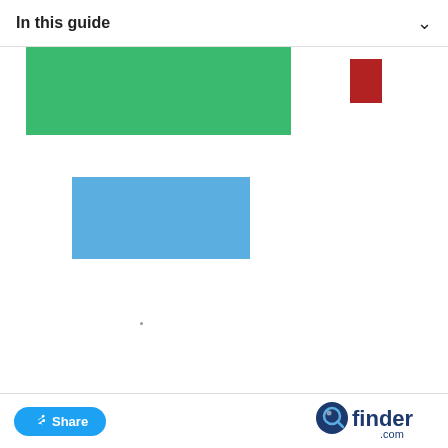In this guide
[Figure (other): Green rectangular banner/image placeholder at top left, with a small red square at top right]
[Figure (other): Blue rectangular image placeholder in the middle-left area]
Share  finder.com